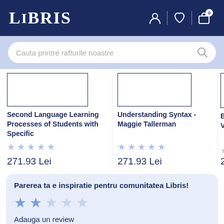LIBRIS
Cauta printre rafturile noastre
[Figure (photo): Book cover placeholder - Second Language Learning Processes of Students with Specific]
Second Language Learning Processes of Students with Specific
★★★★★
271.93 Lei
[Figure (photo): Book cover placeholder - Understanding Syntax - Maggie Tallerman]
Understanding Syntax - Maggie Tallerman
★★★★★
271.93 Lei
B
V
★
2
Parerea ta e inspiratie pentru comunitatea Libris!
★★★★★
Adauga un review